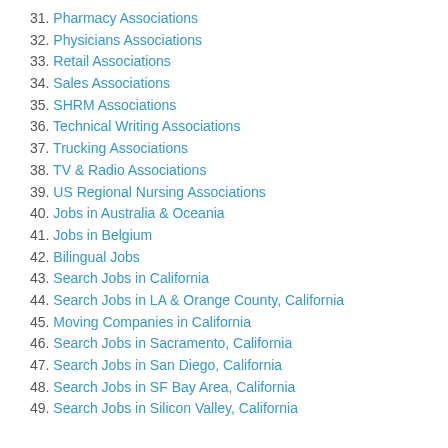31. Pharmacy Associations
32. Physicians Associations
33. Retail Associations
34. Sales Associations
35. SHRM Associations
36. Technical Writing Associations
37. Trucking Associations
38. TV & Radio Associations
39. US Regional Nursing Associations
40. Jobs in Australia & Oceania
41. Jobs in Belgium
42. Bilingual Jobs
43. Search Jobs in California
44. Search Jobs in LA & Orange County, California
45. Moving Companies in California
46. Search Jobs in Sacramento, California
47. Search Jobs in San Diego, California
48. Search Jobs in SF Bay Area, California
49. Search Jobs in Silicon Valley, California